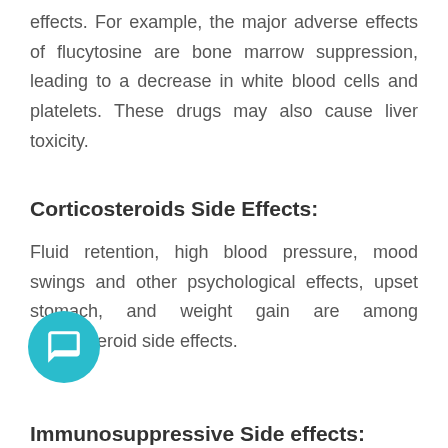effects. For example, the major adverse effects of flucytosine are bone marrow suppression, leading to a decrease in white blood cells and platelets. These drugs may also cause liver toxicity.
Corticosteroids Side Effects:
Fluid retention, high blood pressure, mood swings and other psychological effects, upset stomach, and weight gain are among corticosteroid side effects.
Immunosuppressive Side effects: